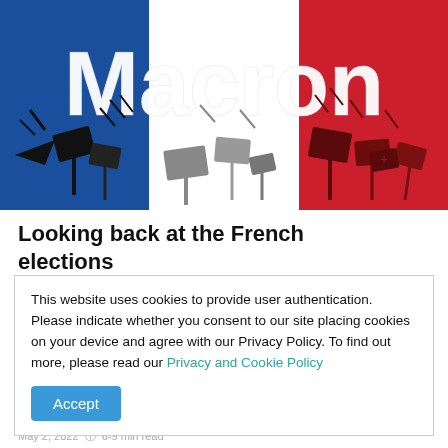[Figure (illustration): French tricolor flag (blue, white, red vertical stripes) as background. Large white text 'Macron' overlaid at top. Silhouettes of protest signs and demonstrators in black, dark gray, and dark red across the lower portion of the image.]
Looking back at the French elections
Party. Champagne. Great speeches. Politicians from all over the world congratulating. But, in the same time, protesters in French streets. That was how Emmanuel...
This website uses cookies to provide user authentication. Please indicate whether you consent to our site placing cookies on your device and agree with our Privacy Policy. To find out more, please read our Privacy and Cookie Policy